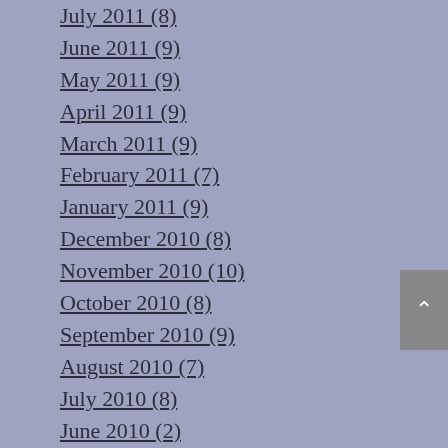July 2011 (8)
June 2011 (9)
May 2011 (9)
April 2011 (9)
March 2011 (9)
February 2011 (7)
January 2011 (9)
December 2010 (8)
November 2010 (10)
October 2010 (8)
September 2010 (9)
August 2010 (7)
July 2010 (8)
June 2010 (2)
RECENT POSTS
Common myths about child custody
Where do you begin with property division?
Mediation may ease the stress of making